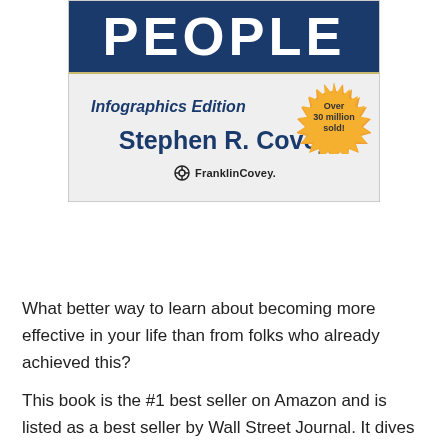[Figure (illustration): Book cover of 'The 7 Habits of Highly Effective People, Infographics Edition' by Stephen R. Covey, published by FranklinCovey. Shows dark blue banner with 'PEOPLE' text, subtitle 'Infographics Edition', author name 'Stephen R. Covey', FranklinCovey logo, and a gold starburst badge reading 'Over 30 million sold!']
What better way to learn about becoming more effective in your life than from folks who already achieved this?
This book is the #1 best seller on Amazon and is listed as a best seller by Wall Street Journal. It dives into the seven habits highly effective people...